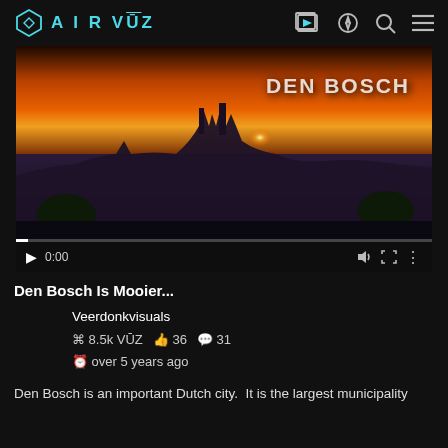[Figure (screenshot): AirVuz website navigation header with logo and icons]
[Figure (screenshot): Video player showing aerial drone footage of Den Bosch city at sunset with a Gothic cathedral. Overlay text 'DEN BOSCH'. Video controls show 0:00 timestamp.]
Den Bosch Is Mooier...
Veerdonkvisuals
⌘ 8.5k VŪZ  👍 36  💬 31
🕐 over 5 years ago
Den Bosch is an important Dutch city.  It is the largest municipality